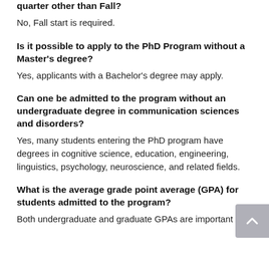Is it possible to begin my graduate studies in a quarter other than Fall?
No, Fall start is required.
Is it possible to apply to the PhD Program without a Master's degree?
Yes, applicants with a Bachelor's degree may apply.
Can one be admitted to the program without an undergraduate degree in communication sciences and disorders?
Yes, many students entering the PhD program have degrees in cognitive science, education, engineering, linguistics, psychology, neuroscience, and related fields.
What is the average grade point average (GPA) for students admitted to the program?
Both undergraduate and graduate GPAs are important in